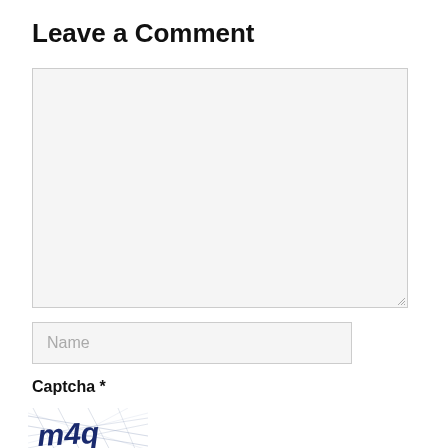Leave a Comment
[Figure (screenshot): Large empty text area input box with light gray background and border, with resize handle in bottom-right corner]
[Figure (screenshot): Text input field with placeholder text 'Name' in gray]
Captcha *
[Figure (illustration): CAPTCHA image showing distorted text 'm4q' in dark blue with crossing lines and diagonal strokes overlaid]